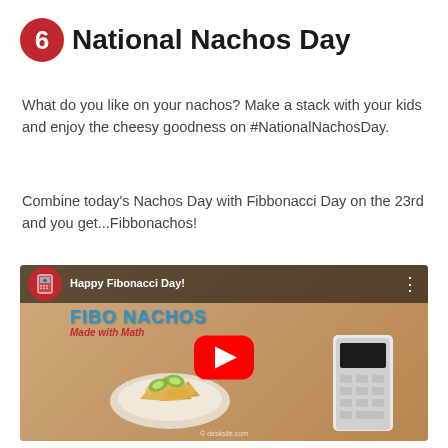6 National Nachos Day
What do you like on your nachos? Make a stack with your kids and enjoy the cheesy goodness on #NationalNachosDay.
Combine today's Nachos Day with Fibbonacci Day on the 23rd and you get...Fibbonachos!
[Figure (screenshot): YouTube video thumbnail showing 'Happy Fibonacci Day!' with FIBO NACHOS title, a bowl of nachos with avocado, and a TI calculator beside it. Large red YouTube play button in center.]